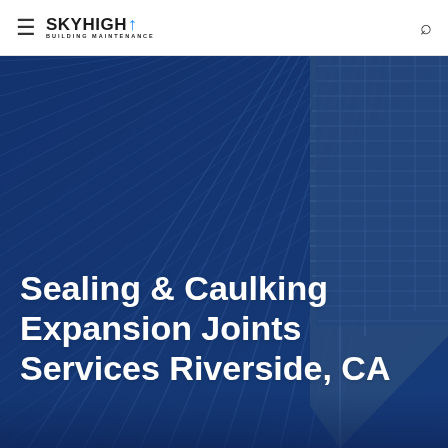SkyHigh Building Maintenance
[Figure (photo): Looking-up perspective photo of a tall glass and steel skyscraper facade against a blue sky, used as hero background image with dark blue overlay]
Sealing & Caulking Expansion Joints Services Riverside, CA